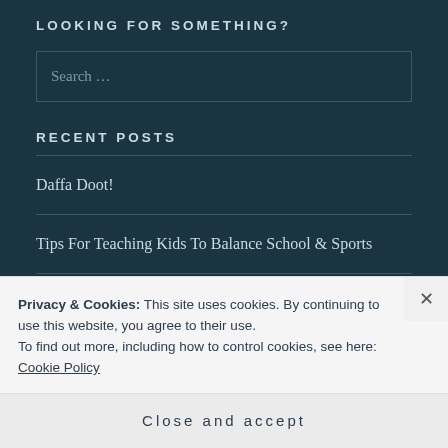LOOKING FOR SOMETHING?
Search …
RECENT POSTS
Daffa Doot!
Tips For Teaching Kids To Balance School & Sports
Privacy & Cookies: This site uses cookies. By continuing to use this website, you agree to their use.
To find out more, including how to control cookies, see here: Cookie Policy
Close and accept